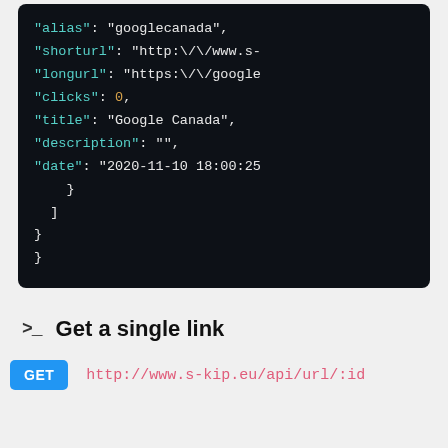[Figure (screenshot): Dark-themed JSON code block showing fields: alias, shorturl, longurl, clicks, title, description, date with closing braces]
>_ Get a single link
GET  http://www.s-kip.eu/api/url/:id